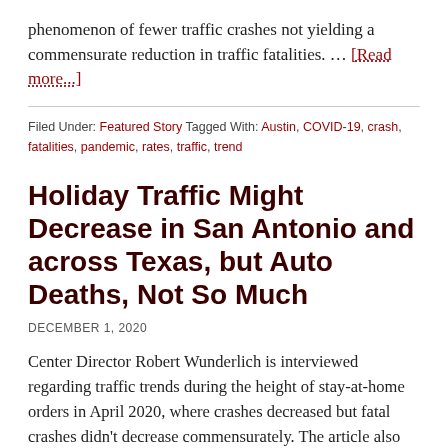phenomenon of fewer traffic crashes not yielding a commensurate reduction in traffic fatalities. … [Read more...]
Filed Under: Featured Story Tagged With: Austin, COVID-19, crash, fatalities, pandemic, rates, traffic, trend
Holiday Traffic Might Decrease in San Antonio and across Texas, but Auto Deaths, Not So Much
DECEMBER 1, 2020
Center Director Robert Wunderlich is interviewed regarding traffic trends during the height of stay-at-home orders in April 2020, where crashes decreased but fatal crashes didn't decrease commensurately. The article also discusses